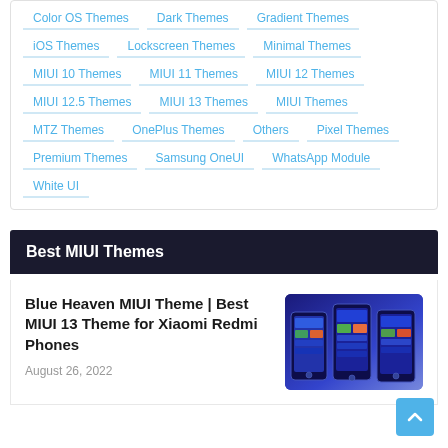Color OS Themes
Dark Themes
Gradient Themes
iOS Themes
Lockscreen Themes
Minimal Themes
MIUI 10 Themes
MIUI 11 Themes
MIUI 12 Themes
MIUI 12.5 Themes
MIUI 13 Themes
MIUI Themes
MTZ Themes
OnePlus Themes
Others
Pixel Themes
Premium Themes
Samsung OneUI
WhatsApp Module
White UI
Best MIUI Themes
Blue Heaven MIUI Theme | Best MIUI 13 Theme for Xiaomi Redmi Phones
August 26, 2022
[Figure (photo): Three smartphones showing Blue Heaven MIUI Theme with blue gradient wallpaper and colorful widgets]